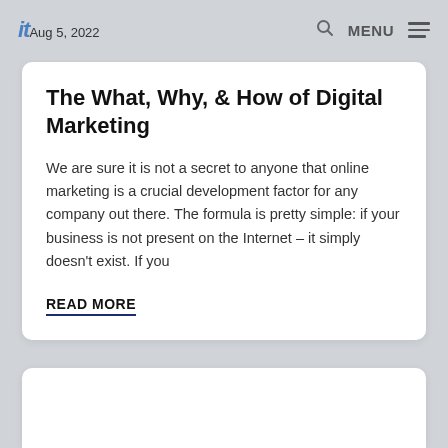it Aug 5, 2022   🔍  MENU  ≡
The What, Why, & How of Digital Marketing
We are sure it is not a secret to anyone that online marketing is a crucial development factor for any company out there. The formula is pretty simple: if your business is not present on the Internet – it simply doesn't exist. If you
READ MORE